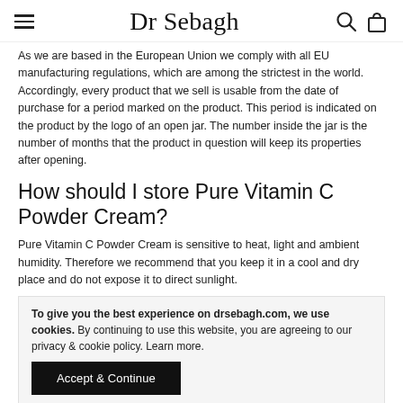Dr Sebagh
As we are based in the European Union we comply with all EU manufacturing regulations, which are among the strictest in the world. Accordingly, every product that we sell is usable from the date of purchase for a period marked on the product. This period is indicated on the product by the logo of an open jar. The number inside the jar is the number of months that the product in question will keep its properties after opening.
How should I store Pure Vitamin C Powder Cream?
Pure Vitamin C Powder Cream is sensitive to heat, light and ambient humidity. Therefore we recommend that you keep it in a cool and dry place and do not expose it to direct sunlight.
To give you the best experience on drsebagh.com, we use cookies. By continuing to use this website, you are agreeing to our privacy & cookie policy. Learn more.